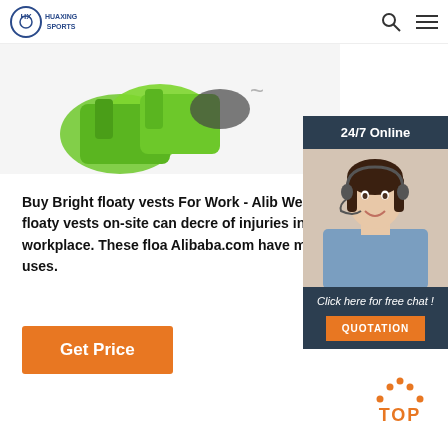HUAXING SPORTS
[Figure (photo): Green floaty vests / safety vests product photo on white background]
Buy Bright floaty vests For Work - Alib Wearing floaty vests on-site can decre of injuries in the workplace. These floa Alibaba.com have many uses.
[Figure (infographic): 24/7 Online chat widget with woman wearing headset, Click here for free chat!, QUOTATION button]
Get Price
[Figure (infographic): TOP icon with dotted arc above orange TOP text]